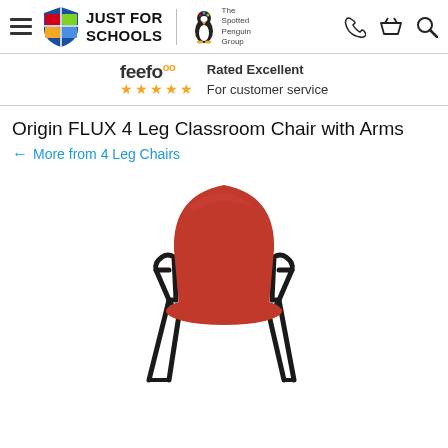Just For Schools / The Spotted Penguin Group navigation header
feefo ★★★★★ Rated Excellent For customer service
Origin FLUX 4 Leg Classroom Chair with Arms
← More from 4 Leg Chairs
[Figure (photo): Red plastic shell classroom chair with black metal 4-leg frame and arm rests, photographed on white background]